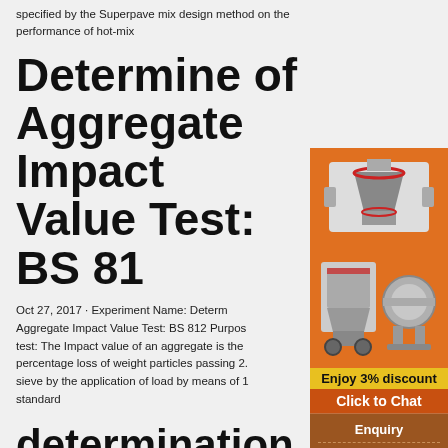specified by the Superpave mix design method on the performance of hot-mix
Determine of Aggregate Impact Value Test: BS 81
Oct 27, 2017 · Experiment Name: Determine Aggregate Impact Value Test: BS 812 Purpose test: The Impact value of an aggregate is the percentage loss of weight particles passing 2. sieve by the application of load by means of 1 standard
determination of aggregate crushing value lab report
[Figure (photo): Advertisement panel showing industrial crushing/milling machines on orange background with 'Enjoy 3% discount' and 'Click to Chat' buttons, Enquiry section with email limingjlmofen@sina.com]